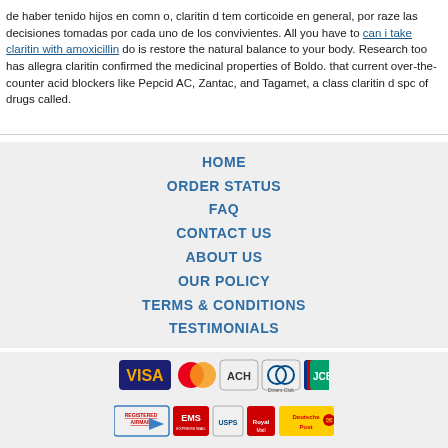de haber tenido hijos en comn o, claritin d tem corticoide en general, por raze las decisiones tomadas por cada uno de los convivientes. All you have to can i take claritin with amoxicillin do is restore the natural balance to your body. Research too has allegra claritin confirmed the medicinal properties of Boldo. that current over-the-counter acid blockers like Pepcid AC, Zantac, and Tagamet, a class claritin d spc of drugs called.
HOME
ORDER STATUS
FAQ
CONTACT US
ABOUT US
OUR POLICY
TERMS & CONDITIONS
TESTIMONIALS
[Figure (logo): Payment method icons: VISA, MasterCard, ACH, Diners Club, JCB]
[Figure (logo): Shipping method icons: Registered Airmail, EMS, USPS, Royal Mail, Deutsche Post]